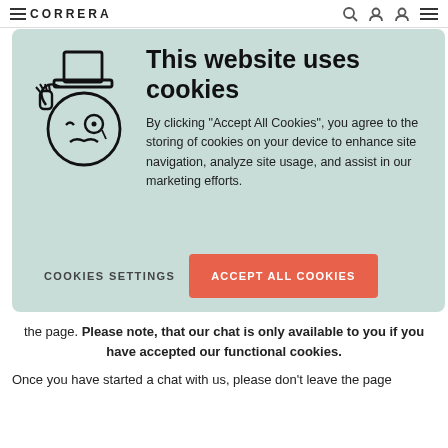CORRERA
[Figure (illustration): Line art illustration of a fancy character (face with top hat, monocle, and mustache) holding the hat brim, drawn in black outline style]
This website uses cookies
By clicking “Accept All Cookies”, you agree to the storing of cookies on your device to enhance site navigation, analyze site usage, and assist in our marketing efforts.
COOKIES SETTINGS
ACCEPT ALL COOKIES
the page. Please note, that our chat is only available to you if you have accepted our functional cookies.
Once you have started a chat with us, please don’t leave the page